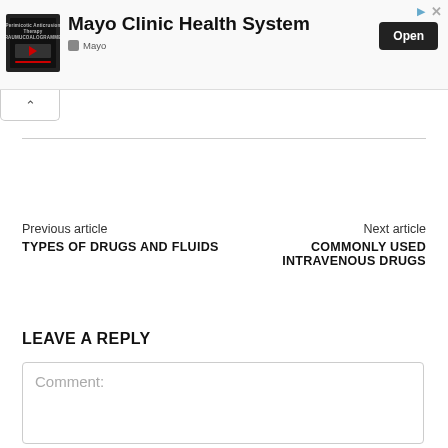[Figure (screenshot): Mayo Clinic Health System advertisement banner with thumbnail image, title, and Open button]
Previous article
TYPES OF DRUGS AND FLUIDS
Next article
COMMONLY USED INTRAVENOUS DRUGS
LEAVE A REPLY
Comment: